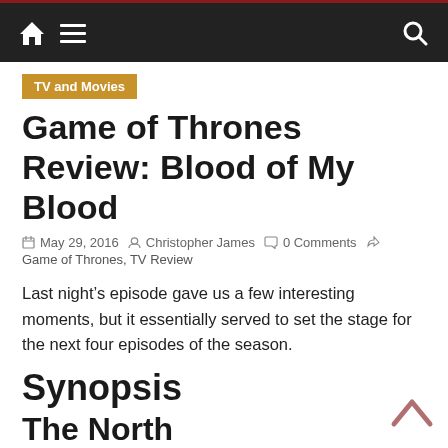TV and Movies
Game of Thrones Review: Blood of My Blood
May 29, 2016  Christopher James  0 Comments  Game of Thrones, TV Review
Last night's episode gave us a few interesting moments, but it essentially served to set the stage for the next four episodes of the season.
Synopsis
The North
The episode picks up right where the previous one left